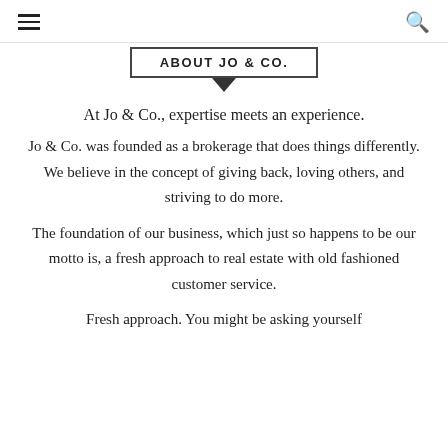≡  🔍
ABOUT JO & CO.
At Jo & Co., expertise meets an experience.
Jo & Co. was founded as a brokerage that does things differently. We believe in the concept of giving back, loving others, and striving to do more.
The foundation of our business, which just so happens to be our motto is, a fresh approach to real estate with old fashioned customer service.
Fresh approach. You might be asking yourself